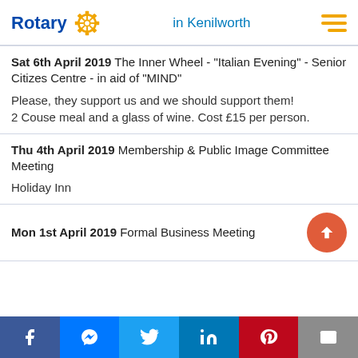Rotary in Kenilworth
Sat 6th April 2019 The Inner Wheel - "Italian Evening" - Senior Citizes Centre - in aid of "MIND"
Please, they support us and we should support them! 2 Couse meal and a glass of wine. Cost £15 per person.
Thu 4th April 2019 Membership & Public Image Committee Meeting
Holiday Inn
Mon 1st April 2019 Formal Business Meeting
Facebook Messenger Twitter LinkedIn Pinterest Mail